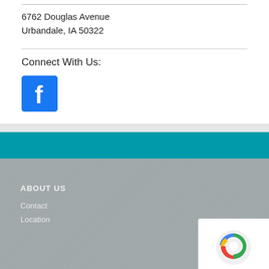6762 Douglas Avenue
Urbandale, IA 50322
Connect With Us:
[Figure (logo): Facebook logo icon — blue square with white letter f]
ABOUT US
Contact
Location